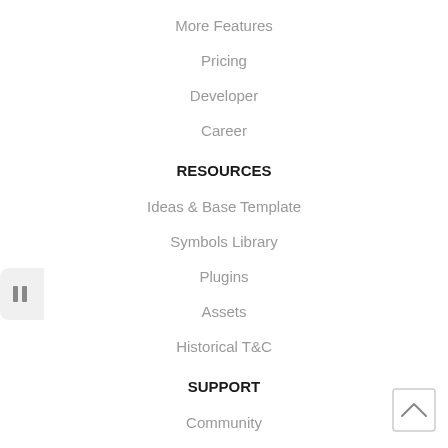More Features
Pricing
Developer
Career
RESOURCES
Ideas & Base Template
Symbols Library
Plugins
Assets
Historical T&C
SUPPORT
Community
Help center
Blog